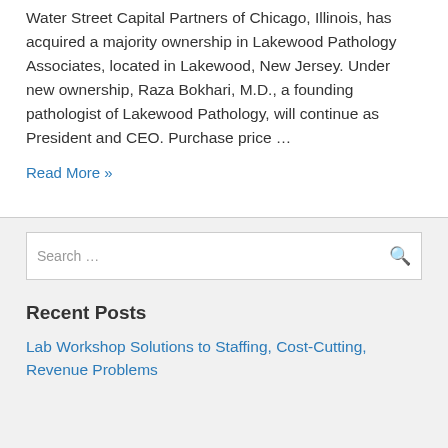Water Street Capital Partners of Chicago, Illinois, has acquired a majority ownership in Lakewood Pathology Associates, located in Lakewood, New Jersey. Under new ownership, Raza Bokhari, M.D., a founding pathologist of Lakewood Pathology, will continue as President and CEO. Purchase price …
Read More »
Search …
Recent Posts
Lab Workshop Solutions to Staffing, Cost-Cutting, Revenue Problems